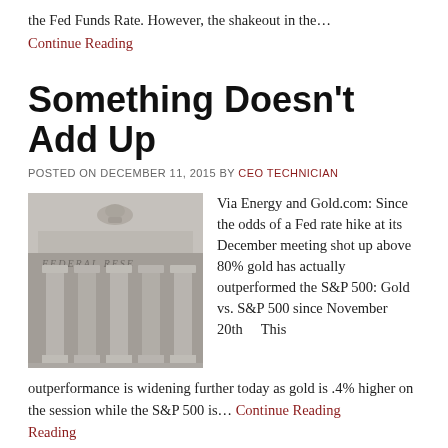the Fed Funds Rate. However, the shakeout in the…
Continue Reading
Something Doesn't Add Up
POSTED ON DECEMBER 11, 2015 BY CEO TECHNICIAN
[Figure (photo): Photograph of the Federal Reserve building facade showing columns and engraved text 'FEDERAL RESE[RVE]']
Via Energy and Gold.com: Since the odds of a Fed rate hike at its December meeting shot up above 80% gold has actually outperformed the S&P 500: Gold vs. S&P 500 since November 20th    This outperformance is widening further today as gold is .4% higher on the session while the S&P 500 is…
Continue Reading